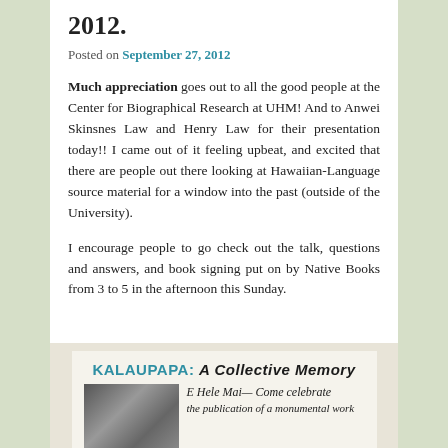2012.
Posted on September 27, 2012
Much appreciation goes out to all the good people at the Center for Biographical Research at UHM! And to Anwei Skinsnes Law and Henry Law for their presentation today!! I came out of it feeling upbeat, and excited that there are people out there looking at Hawaiian-Language source material for a window into the past (outside of the University).
I encourage people to go check out the talk, questions and answers, and book signing put on by Native Books from 3 to 5 in the afternoon this Sunday.
[Figure (photo): Flyer for Kalaupapa: A Collective Memory event, showing old black and white photograph of people and cursive text reading 'E Hele Mai—Come celebrate the publication of a monumental work']